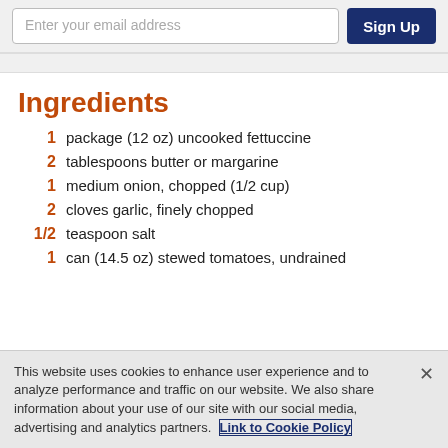Enter your email address | Sign Up
Ingredients
1 package (12 oz) uncooked fettuccine
2 tablespoons butter or margarine
1 medium onion, chopped (1/2 cup)
2 cloves garlic, finely chopped
1/2 teaspoon salt
1 can (14.5 oz) stewed tomatoes, undrained
This website uses cookies to enhance user experience and to analyze performance and traffic on our website. We also share information about your use of our site with our social media, advertising and analytics partners. Link to Cookie Policy